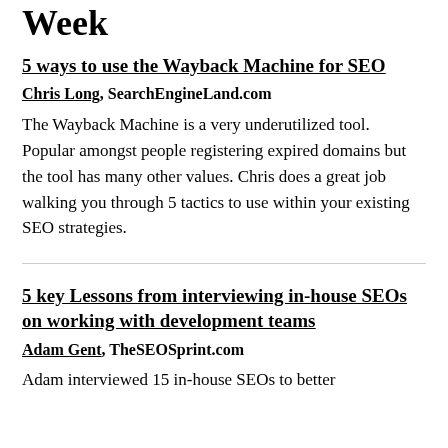Week
5 ways to use the Wayback Machine for SEO
Chris Long, SearchEngineLand.com
The Wayback Machine is a very underutilized tool. Popular amongst people registering expired domains but the tool has many other values. Chris does a great job walking you through 5 tactics to use within your existing SEO strategies.
5 key Lessons from interviewing in-house SEOs on working with development teams
Adam Gent, TheSEOSprint.com
Adam interviewed 15 in-house SEOs to better